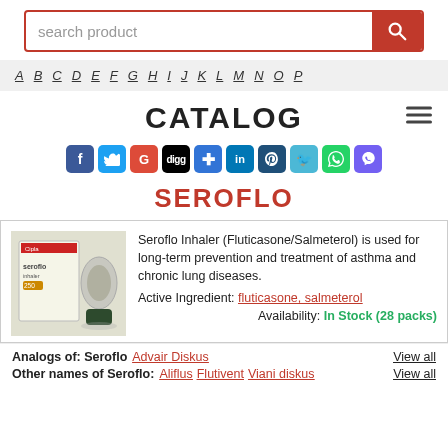search product
A B C D E F G H I J K L M N O P
CATALOG
[Figure (infographic): Social sharing icons: Facebook, Twitter, Google+, Digg, Delicious, LinkedIn, Pinterest, Twitter bird, WhatsApp, Viber]
SEROFLO
[Figure (photo): Seroflo inhaler product image showing box and inhaler device]
Seroflo Inhaler (Fluticasone/Salmeterol) is used for long-term prevention and treatment of asthma and chronic lung diseases.
Active Ingredient: fluticasone, salmeterol
Availability: In Stock (28 packs)
Analogs of: Seroflo   Advair Diskus   View all
Other names of Seroflo:   Aliflus   Flutivent   Viani diskus   View all